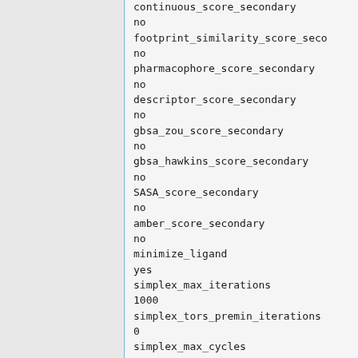continuous_score_secondary
no
footprint_similarity_score_secondary
no
pharmacophore_score_secondary
no
descriptor_score_secondary
no
gbsa_zou_score_secondary
no
gbsa_hawkins_score_secondary
no
SASA_score_secondary
no
amber_score_secondary
no
minimize_ligand
yes
simplex_max_iterations
1000
simplex_tors_premin_iterations
0
simplex_max_cycles
1
simplex_score_converge
1